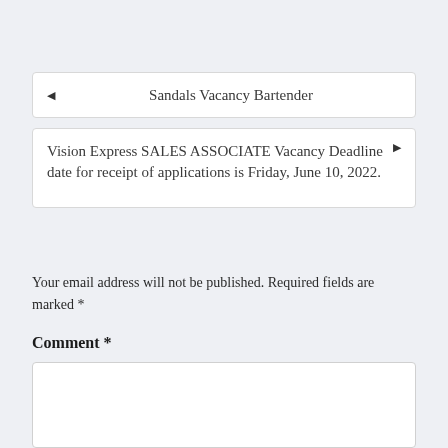Sandals Vacancy Bartender
Vision Express SALES ASSOCIATE Vacancy Deadline date for receipt of applications is Friday, June 10, 2022.
Your email address will not be published. Required fields are marked *
Comment *